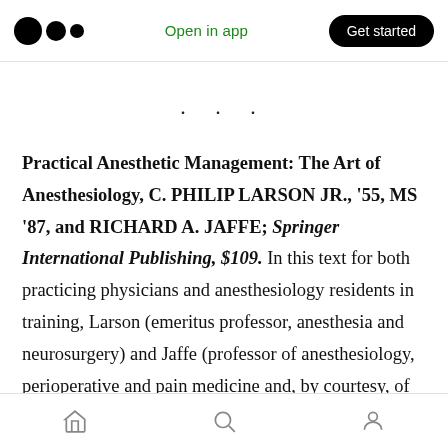Medium app header with logo, Open in app link, and Get started button
· · ·
Practical Anesthetic Management: The Art of Anesthesiology, C. PHILIP LARSON JR., '55, MS '87, and RICHARD A. JAFFE; Springer International Publishing, $109. In this text for both practicing physicians and anesthesiology residents in training, Larson (emeritus professor, anesthesia and neurosurgery) and Jaffe (professor of anesthesiology, perioperative and pain medicine and, by courtesy, of neurosurgery)
Home | Search | Profile navigation icons